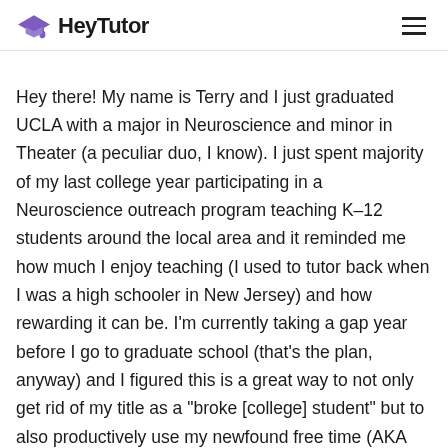HeyTutor
Hey there! My name is Terry and I just graduated UCLA with a major in Neuroscience and minor in Theater (a peculiar duo, I know). I just spent majority of my last college year participating in a Neuroscience outreach program teaching K–12 students around the local area and it reminded me how much I enjoy teaching (I used to tutor back when I was a high schooler in New Jersey) and how rewarding it can be. I'm currently taking a gap year before I go to graduate school (that's the plan, anyway) and I figured this is a great way to not only get rid of my title as a "broke [college] student" but to also productively use my newfound free time (AKA genuinely help you all learn something)! :)